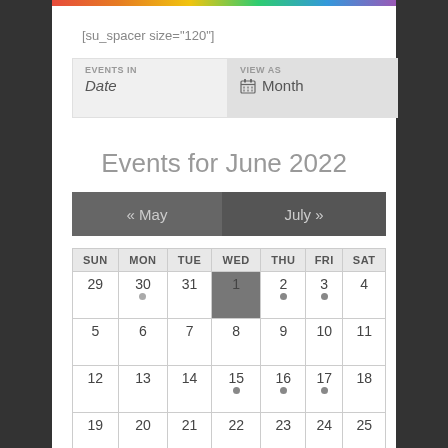[su_spacer size="120"]
| EVENTS IN | VIEW AS |
| --- | --- |
| Date | Month |
Events for June 2022
« May   July »
| SUN | MON | TUE | WED | THU | FRI | SAT |
| --- | --- | --- | --- | --- | --- | --- |
| 29 | 30 | 31 | 1 | 2 | 3 | 4 |
| 5 | 6 | 7 | 8 | 9 | 10 | 11 |
| 12 | 13 | 14 | 15 | 16 | 17 | 18 |
| 19 | 20 | 21 | 22 | 23 | 24 | 25 |